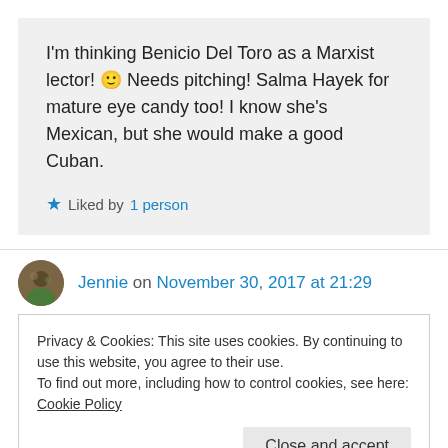I'm thinking Benicio Del Toro as a Marxist lector! 🙂 Needs pitching! Salma Hayek for mature eye candy too! I know she's Mexican, but she would make a good Cuban.
★ Liked by 1 person
Jennie on November 30, 2017 at 21:29
Privacy & Cookies: This site uses cookies. By continuing to use this website, you agree to their use.
To find out more, including how to control cookies, see here: Cookie Policy
Close and accept
there are at least two of us to spread the word